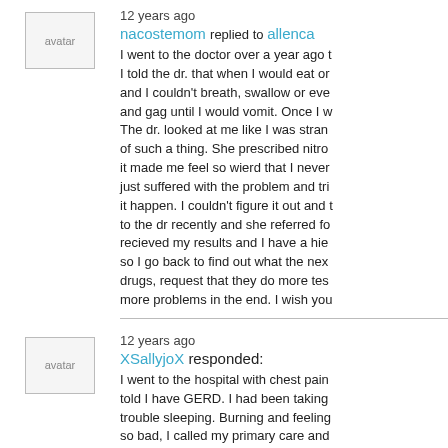12 years ago
nacostemom replied to allenca
I went to the doctor over a year ago I told the dr. that when I would eat or and I couldn't breath, swallow or eve and gag until I would vomit. Once I w The dr. looked at me like I was stran of such a thing. She prescribed nitro it made me feel so wierd that I never just suffered with the problem and tri it happen. I couldn't figure it out and to the dr recently and she referred fo recieved my results and I have a hie so I go back to find out what the nex drugs, request that they do more tes more problems in the end. I wish you
12 years ago
XSallyjoX responded:
I went to the hospital with chest pain told I have GERD. I had been taking trouble sleeping. Burning and feeling so bad, I called my primary care and said go to the hospital. My pain was Dicyclomine for the spasms. It makes headachy. I still feel like something is